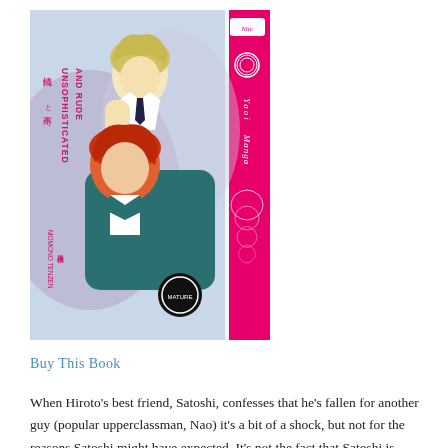[Figure (illustration): Book cover of 'Unsophisticated and Rude' manga by Momono Tenzen. Shows two young male characters in an embrace — one with light blond hair wearing a white shirt, the other with red/auburn hair. Japanese text on the spine reads 純情と不埒. A pink decorative spine on the right reads 'Yaoi Manga' with rose designs. Published under 'Nite' imprint.]
Buy This Book
When Hiroto's best friend, Satoshi, confesses that he's fallen for another guy (popular upperclassman, Nao) it's a bit of a shock, but not for the reasons Satoshi might have expected. It's not the fact that Satoshi is crushing on a boy...